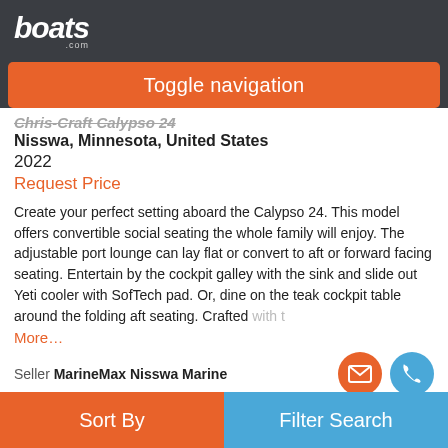boats.com
Toggle navigation
Chris-Craft Calypso 24
Nisswa, Minnesota, United States
2022
Request Price
Create your perfect setting aboard the Calypso 24. This model offers convertible social seating the whole family will enjoy. The adjustable port lounge can lay flat or convert to aft or forward facing seating. Entertain by the cockpit galley with the sink and slide out Yeti cooler with SofTech pad. Or, dine on the teak cockpit table around the folding aft seating. Crafted with t
More…
Seller MarineMax Nisswa Marine
Sort By | Filter Search